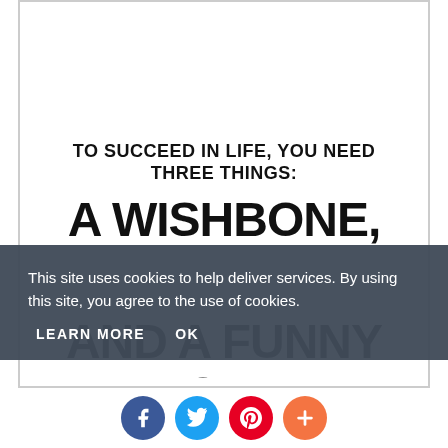TO SUCCEED IN LIFE, YOU NEED THREE THINGS:
A WISHBONE,
AND A FUNNY BONE.
This site uses cookies to help deliver services. By using this site, you agree to the use of cookies.
LEARN MORE   OK
[Figure (other): Social media share buttons: Facebook, Twitter, Pinterest, and a plus/more button]